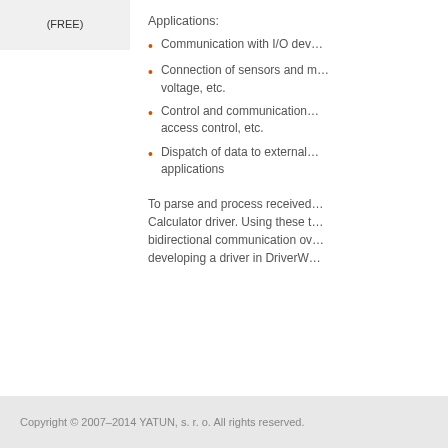(FREE)
Applications:
Communication with I/O devices
Connection of sensors and measuring devices for temperature, voltage, etc.
Control and communication with security systems, access control, etc.
Dispatch of data to external applications
To parse and process received data, you can use the built-in Calculator driver. Using these two drivers you can implement bidirectional communication over a serial port without developing a driver in DriverWorks.
Copyright © 2007–2014 YATUN, s. r. o. All rights reserved.